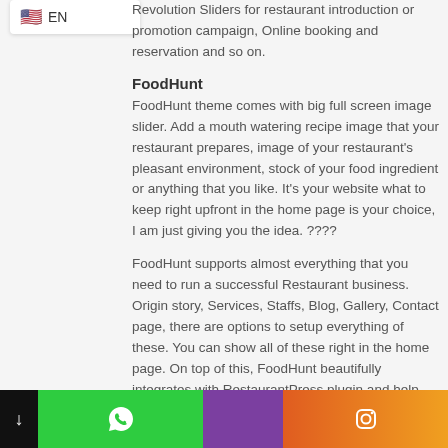[Figure (screenshot): Language selector button showing US flag emoji and 'EN' text, white rounded rectangle button]
Revolution Sliders for restaurant introduction or promotion campaign, Online booking and reservation and so on.
FoodHunt
FoodHunt theme comes with big full screen image slider. Add a mouth watering recipe image that your restaurant prepares, image of your restaurant's pleasant environment, stock of your food ingredient or anything that you like. It's your website what to keep right upfront in the home page is your choice, I am just giving you the idea. ????
FoodHunt supports almost everything that you need to run a successful Restaurant business. Origin story, Services, Staffs, Blog, Gallery, Contact page, there are options to setup everything of these. You can show all of these right in the home page. On top of this, FoodHunt beautifully integrates with RestaurantPress plugin and help you to create different types of menu sets. You can configure
[Figure (infographic): Bottom navigation bar with four sections: black section with down arrow, green section with WhatsApp icon, purple section with separator, orange-red gradient section with Instagram icon]